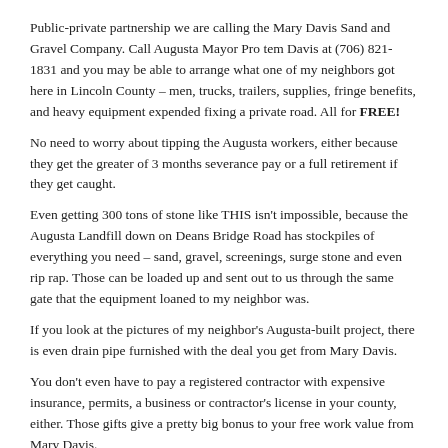Public-private partnership we are calling the Mary Davis Sand and Gravel Company. Call Augusta Mayor Pro tem Davis at (706) 821-1831 and you may be able to arrange what one of my neighbors got here in Lincoln County – men, trucks, trailers, supplies, fringe benefits, and heavy equipment expended fixing a private road. All for FREE!
No need to worry about tipping the Augusta workers, either because they get the greater of 3 months severance pay or a full retirement if they get caught.
Even getting 300 tons of stone like THIS isn't impossible, because the Augusta Landfill down on Deans Bridge Road has stockpiles of everything you need – sand, gravel, screenings, surge stone and even rip rap. Those can be loaded up and sent out to us through the same gate that the equipment loaned to my neighbor was.
If you look at the pictures of my neighbor's Augusta-built project, there is even drain pipe furnished with the deal you get from Mary Davis.
You don't even have to pay a registered contractor with expensive insurance, permits, a business or contractor's license in your county, either. Those gifts give a pretty big bonus to your free work value from Mary Davis.
If the equipment from the landfill is tied up and can't get to you, then the nice sheriff down there has a guy who will meet your equipment needs with no delay, stationed at the shooting range next door.